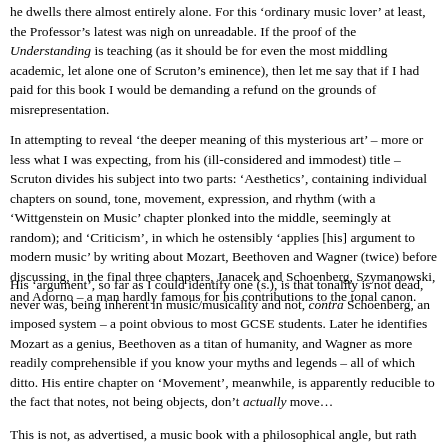he dwells there almost entirely alone. For this 'ordinary music lover' at least, the Professor's latest was nigh on unreadable. If the proof of the Understanding is teaching (as it should be for even the most middling academic, let alone one of Scruton's eminence), then let me say that if I had paid for this book I would be demanding a refund on the grounds of misrepresentation.
In attempting to reveal 'the deeper meaning of this mysterious art' – more or less what I was expecting, from his (ill-considered and immodest) title – Scruton divides his subject into two parts: 'Aesthetics', containing individual chapters on sound, tone, movement, expression, and rhythm (with a 'Wittgenstein on Music' chapter plonked into the middle, seemingly at random); and 'Criticism', in which he ostensibly 'applies [his] argument to modern music' by writing about Mozart, Beethoven and Wagner (twice) before discussing, in the final three chapters, Janacek and Schoenberg, Szymanowski, and Adorno – a man hardly famous for his contributions to the tonal canon.
His 'argument', so far as I could identify one (s.), is that tonality is not dead, never was, being inherent in music/musicality and not, contra Schoenberg, an imposed system – a point obvious to most GCSE students. Later he identifies Mozart as a genius, Beethoven as a titan of humanity, and Wagner as more readily comprehensible if you know your myths and legends – all of which ditto. His entire chapter on 'Movement', meanwhile, is apparently reducible to the fact that notes, not being objects, don't actually move…
This is not, as advertised, a music book with a philosophical angle, but rath